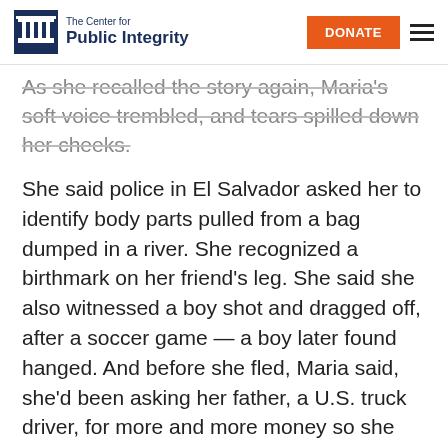The Center for Public Integrity | DONATE
As she recalled the story again, Maria's soft voice trembled, and tears spilled down her cheeks.
She said police in El Salvador asked her to identify body parts pulled from a bag dumped in a river. She recognized a birthmark on her friend's leg. She said she also witnessed a boy shot and dragged off, after a soccer game — a boy later found hanged. And before she fled, Maria said, she'd been asking her father, a U.S. truck driver, for more and more money so she could pay murderous MS-13 gangsters $60 a month to leave her alone.